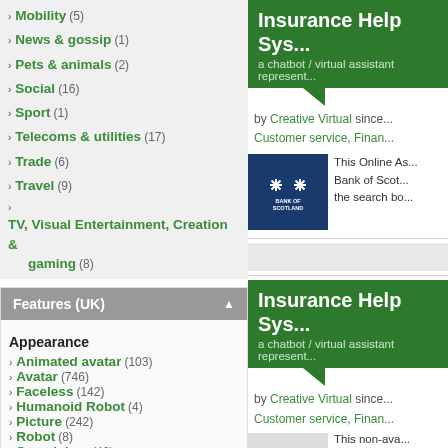Mobility (5)
News & gossip (1)
Pets & animals (2)
Social (16)
Sport (1)
Telecoms & utilities (17)
Trade (6)
Travel (9)
TV, Visual Entertainment, Creation & gaming (8)
Features (UK)
Appearance
Animated avatar (103)
Avatar (746)
Faceless (142)
Humanoid Robot (4)
Picture (242)
Robot (8)
Search box (48)
Video (83)
Perception
Gesture recognition (4)
Insurance Help Sys...
a chatbot / virtual assistant represent...
by Creative Virtual since... Customer service, Finan...
[Figure (logo): Bank of Scotland logo — blue square with white asterisk/star icons and text BANK OF SCOTLAND]
This Online As... Bank of Scot... the search bo...
Insurance Help Sys...
a chatbot / virtual assistant represent...
by Creative Virtual since... Customer service, Finan...
This non-ava...